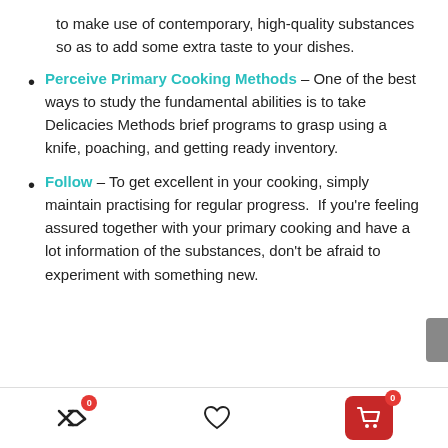to make use of contemporary, high-quality substances so as to add some extra taste to your dishes.
Perceive Primary Cooking Methods – One of the best ways to study the fundamental abilities is to take Delicacies Methods brief programs to grasp using a knife, poaching, and getting ready inventory.
Follow – To get excellent in your cooking, simply maintain practising for regular progress. If you're feeling assured together with your primary cooking and have a lot information of the substances, don't be afraid to experiment with something new.
Footer navigation bar with icons: shuffle (0), heart, cart (0)